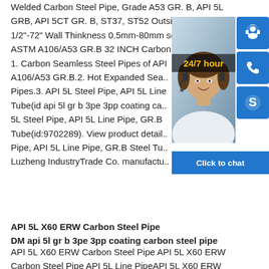Welded Carbon Steel Pipe, Grade A53 GR. B, API 5L GRB, API 5CT GR. B, ST37, ST52 Outside Diameter 1/2"-72" Wall Thinkness 0.5mm-80mm sch40--schXXS.. ASTM A106/A53 GR.B 32 INCH Carbon Seamless pi.. 1. Carbon Seamless Steel Pipes of API A106/A53 GR.B.2. Hot Expanded Sea.. Pipes.3. API 5L Steel Pipe, API 5L Line.. Tube(id api 5l gr b 3pe 3pp coating ca.. 5L Steel Pipe, API 5L Line Pipe, GR.B.. Tube(id:9702289). View product detail.. Pipe, API 5L Line Pipe, GR.B Steel Tu.. Luzheng IndustryTrade Co. manufactu..
API 5L X60 ERW Carbon Steel Pipe DM api 5l gr b 3pe 3pp coating carbon steel pipe
API 5L X60 ERW Carbon Steel Pipe API 5L X60 ERW Carbon Steel Pipe API 5L Line PipeAPI 5L X60 ERW Carbon Steel Pipe manufacturer suppliers API 5L X60 ERW Carbon Steel Pipe, API 5l Grade B X60 Seamless Pipes, API 5l GR.B X60 Pipe, High Quality API 5l Gr. B
[Figure (photo): Customer service chat widget overlay showing a smiling woman with headset, 24/7 hour label, three blue icon buttons (headset, phone, Skype), and a blue 'Click to chat' bar at bottom.]